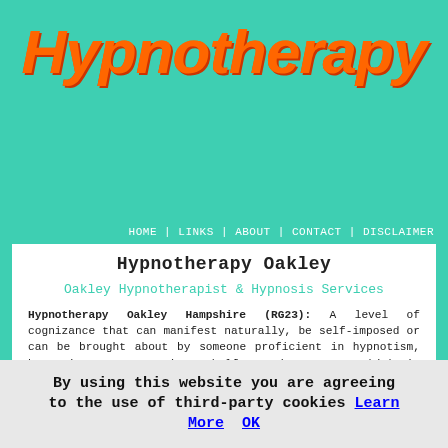Hypnotherapy
HOME | LINKS | ABOUT | CONTACT | DISCLAIMER
Hypnotherapy Oakley
Oakley Hypnotherapist & Hypnosis Services
Hypnotherapy Oakley Hampshire (RG23): A level of cognizance that can manifest naturally, be self-imposed or can be brought about by someone proficient in hypnotism, hypnosis or trance is a half-conscious state which is somewhere between sleeping and alertness. Whether by chance or intentionally pretty much everybody in Oakley is going to encounter this altered state of mind at some time, and it can often be when answers to problems are found or great ideas are established.
When somebody
By using this website you are agreeing to the use of third-party cookies Learn More  OK